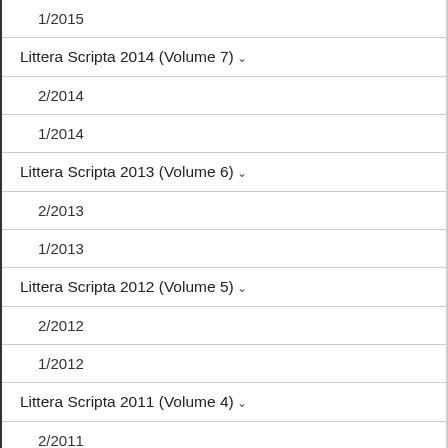1/2015
Littera Scripta 2014 (Volume 7)
2/2014
1/2014
Littera Scripta 2013 (Volume 6)
2/2013
1/2013
Littera Scripta 2012 (Volume 5)
2/2012
1/2012
Littera Scripta 2011 (Volume 4)
2/2011